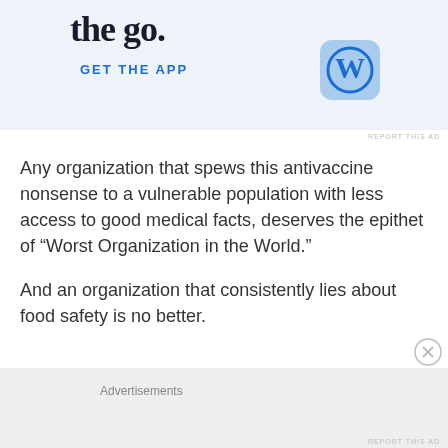[Figure (screenshot): WordPress app advertisement banner with 'the go.' text, 'GET THE APP' link in blue, and WordPress logo icon on light blue background]
Any organization that spews this antivaccine nonsense to a vulnerable population with less access to good medical facts, deserves the epithet of “Worst Organization in the World.”
And an organization that consistently lies about food safety is no better.
Advertisements